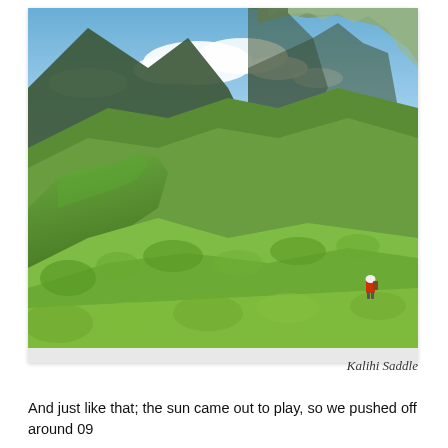[Figure (photo): Photograph of Kalihi Saddle — lush green mountain ridgelines with dramatic rocky peaks rising into a partly cloudy blue sky; a hiker in a red jacket visible on the right slope in the lower portion of the image.]
Kalihi Saddle
And just like that; the sun came out to play, so we pushed off around 09